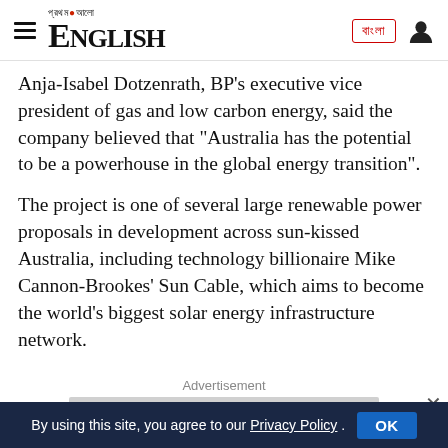Prothom Alo English — navigation header
Anja-Isabel Dotzenrath, BP's executive vice president of gas and low carbon energy, said the company believed that “Australia has the potential to be a powerhouse in the global energy transition”.
The project is one of several large renewable power proposals in development across sun-kissed Australia, including technology billionaire Mike Cannon-Brookes’ Sun Cable, which aims to become the world’s biggest solar energy infrastructure network.
Advertisement
By using this site, you agree to our Privacy Policy. OK